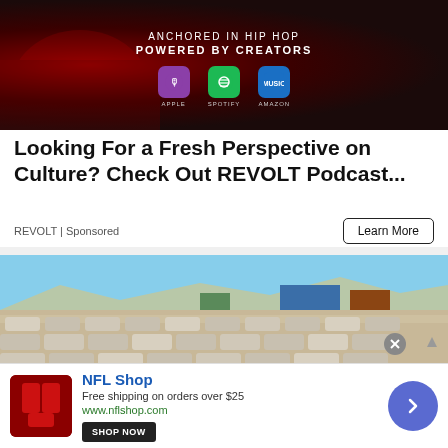[Figure (photo): Dark red/maroon branded banner ad with text 'ANCHORED IN HIP HOP / POWERED BY CREATORS' and three podcast platform icons: Apple Podcasts, Spotify, Amazon Music]
Looking For a Fresh Perspective on Culture? Check Out REVOLT Podcast...
REVOLT | Sponsored
Learn More
[Figure (photo): Aerial/wide shot of a large car lot filled with hundreds of light-colored vehicles, with buildings and mountains visible in the background under a blue sky]
[Figure (logo): NFL Shop advertisement bar with red NFL Shop logo, text 'Free shipping on orders over $25', 'www.nflshop.com', 'SHOP NOW' button, and blue arrow navigation button]